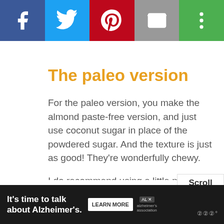[Figure (other): Social sharing bar with icons: Facebook (blue), Twitter (light blue), Pinterest (red), Email (grey), More (green)]
The paleo version
For the paleo version, you make the almond paste-free version, and just use coconut sugar in place of the powdered sugar. And the texture is just as good! They're wonderfully chewy.
I do recommend using a little more almond extract, though. Like I said in the pignoli cookie recipe, I was surprised that coconut sugar works well in an almond-flavored recipe. But a little extra almond extra…
[Figure (other): Scroll to top button overlay showing 'Scroll to top']
[Figure (other): Advertisement banner: It's time to talk about Alzheimer's. LEARN MORE. Alzheimer's Association logo.]